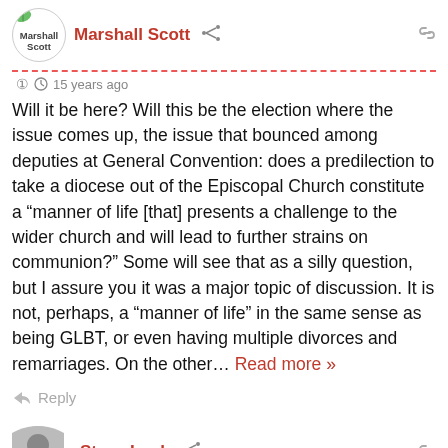Marshall Scott
15 years ago
Will it be here? Will this be the election where the issue comes up, the issue that bounced among deputies at General Convention: does a predilection to take a diocese out of the Episcopal Church constitute a “manner of life [that] presents a challenge to the wider church and will lead to further strains on communion?” Some will see that as a silly question, but I assure you it was a major topic of discussion. It is not, perhaps, a “manner of life” in the same sense as being GLBT, or even having multiple divorces and remarriages. On the other… Read more »
Reply
Steve Lusk
15 years ago
Speaking of the new bishop’s answers (the PDF file linked above), he compared his answers with B033 question 3 and 033 ti...